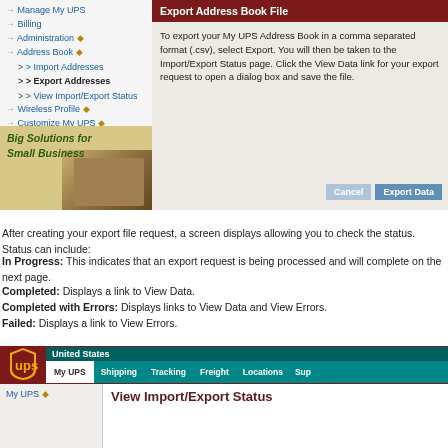[Figure (screenshot): UPS website screenshot showing left navigation menu with links including Manage My UPS, Billing, Administration, Address Book (with sub-items: Import Addresses, Export Addresses highlighted, View Import/Export Status), Wireless Profile, Customize My UPS, Maintain Your UPS Account. Right side shows Export Address Book File panel with maroon header bar and instructional text. Big Solutions for Small Business banner at bottom left.]
After creating your export file request, a screen displays allowing you to check the status. Status can include:
In Progress: This indicates that an export request is being processed and will complete on the next page.
Completed: Displays a link to View Data.
Completed with Errors: Displays links to View Data and View Errors.
Failed: Displays a link to View Errors.
[Figure (screenshot): UPS website screenshot showing bottom portion with UPS logo, United States label, navigation tabs (My UPS active, Shipping, Tracking, Freight, Locations, Sup...), left nav showing My UPS link, and right content area beginning to show View Import/Export Status heading.]